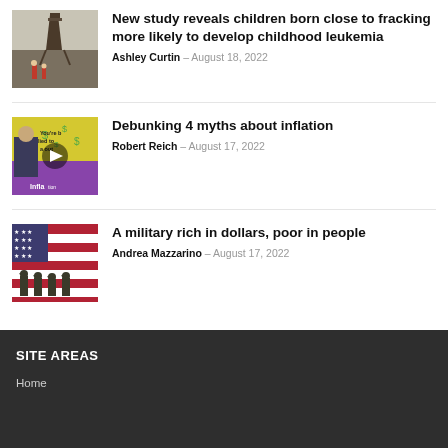[Figure (photo): Industrial fracking structure with two children in foreground]
New study reveals children born close to fracking more likely to develop childhood leukemia
Ashley Curtin – August 18, 2022
[Figure (photo): Robert Reich video thumbnail about inflation myths]
Debunking 4 myths about inflation
Robert Reich – August 17, 2022
[Figure (photo): Soldiers saluting in front of American flag]
A military rich in dollars, poor in people
Andrea Mazzarino – August 17, 2022
SITE AREAS
Home